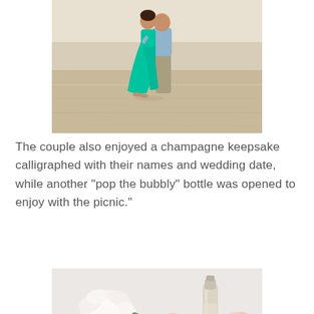[Figure (photo): A couple embracing on a beach. The woman is wearing a flowing teal/green dress and sandals, the man is wearing a light blue shirt and khaki pants. They are walking on sandy beach.]
The couple also enjoyed a champagne keepsake calligraphed with their names and wedding date, while another "pop the bubbly" bottle was opened to enjoy with the picnic."
[Figure (photo): Close-up photo of white peonies and pink/blush flowers with green leaves arranged around a clear glass champagne bottle, on a light gray background.]